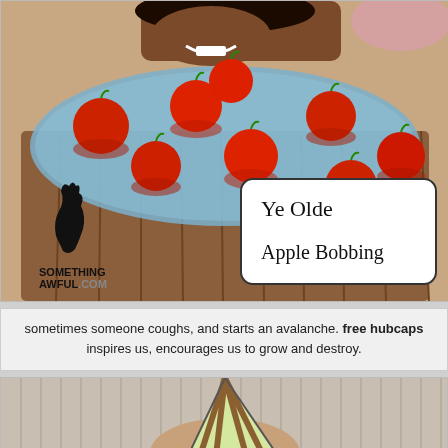[Figure (illustration): Humorous illustrated image of apple bobbing: a wood barrel tub filled with blue water and red apples, a person at the top leaning in to bite an apple, with a speech bubble sign reading 'Ye Olde Apple Bobbing' and a SomethingAwful.com watermark logo in the lower left.]
sometimes someone coughs, and starts an avalanche. free hubcaps inspires us, encourages us to grow and destroy.
[Figure (photo): Partially visible photo of a man's head wearing a striped party hat (green and brown diagonal stripes), against a light beige/tan background with vertical line pattern.]